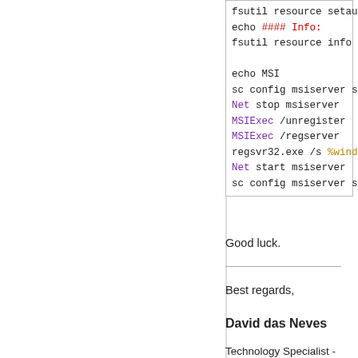[Figure (screenshot): Code block showing Windows batch/command-line script with colored syntax highlighting: fsutil resource setautoreset true c, echo #### Info:, fsutil resource info C:, echo MSI, sc config msiserver start= demand, Net stop msiserver, MSIExec /unregister, MSIExec /regserver, regsvr32.exe /s %windir%\system, Net start msiserver, sc config msiserver start= auto]
Good luck.
Best regards,
David das Neves
Technology Specialist -
Consulting Services
Computacenter AG & Co. oHG -